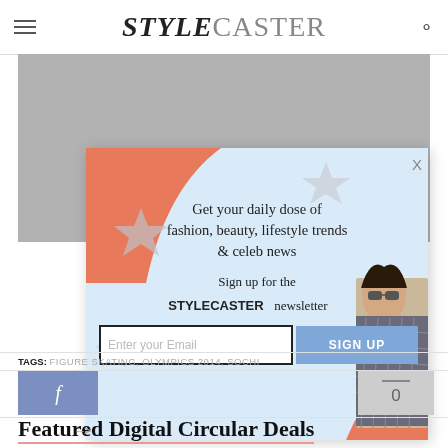STYLECASTER
[Figure (photo): Gray placeholder image area behind popup]
[Figure (screenshot): Newsletter signup popup with coral/orange corner decoration, stars, woman's photo, tagline 'Get your daily dose of fashion, beauty, lifestyle trends & celeb news', STYLECASTER newsletter sign up form with email input and SIGN UP button]
TAGS: FIGURE SKATING, OLYMPICS 2014, SOCHI
Featured Digital Circular Deals
-->